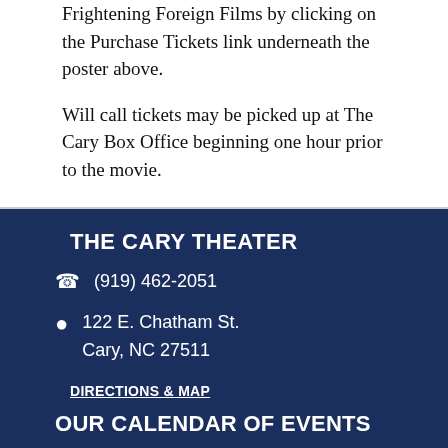Frightening Foreign Films by clicking on the Purchase Tickets link underneath the poster above.
Will call tickets may be picked up at The Cary Box Office beginning one hour prior to the movie.
THE CARY THEATER
(919) 462-2051
122 E. Chatham St.
Cary, NC 27511
DIRECTIONS & MAP
OUR CALENDAR OF EVENTS
DOWNLOAD OUR PRINT-READY SCHEDULE
Not Available Online